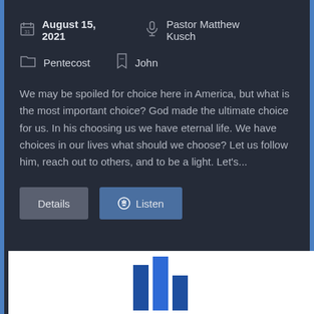August 15, 2021 | Pastor Matthew Kusch
Pentecost | John
We may be spoiled for choice here in America, but what is the most important choice? God made the ultimate choice for us. In his choosing us we have eternal life. We have choices in our lives what should we choose? Let us follow him, reach out to others, and to be a light. Let's...
[Figure (logo): Blue architectural/building logo mark on white background, partially visible at the bottom of the page]